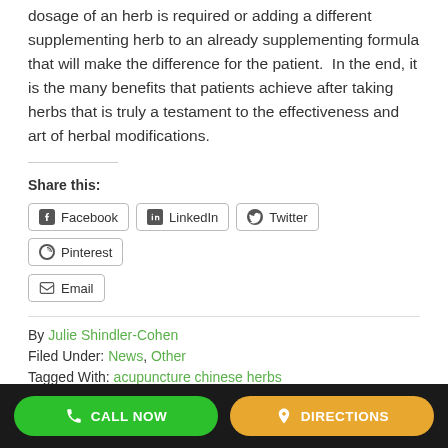dosage of an herb is required or adding a different supplementing herb to an already supplementing formula that will make the difference for the patient.  In the end, it is the many benefits that patients achieve after taking herbs that is truly a testament to the effectiveness and art of herbal modifications.
Share this:
Facebook | LinkedIn | Twitter | Pinterest | Email
By Julie Shindler-Cohen
Filed Under: News, Other
Tagged With: acupuncture chinese herbs
CALL NOW   DIRECTIONS